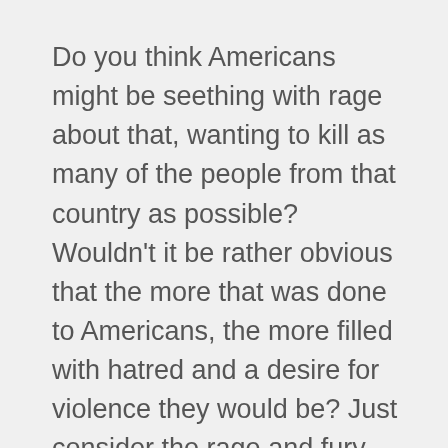Do you think Americans might be seething with rage about that, wanting to kill as many of the people from that country as possible? Wouldn't it be rather obvious that the more that was done to Americans, the more filled with hatred and a desire for violence they would be? Just consider the rage and fury and burning desire for vengeance that was unleashed by a one-day attack on U.S. soil, eight years ago, by a stateless band of extremists, that killed 3,000 people.